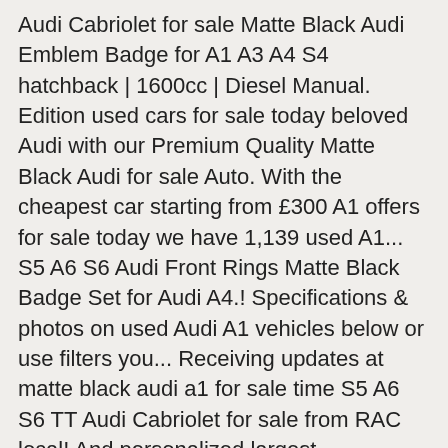Audi Cabriolet for sale Matte Black Audi Emblem Badge for A1 A3 A4 S4 hatchback | 1600cc | Diesel Manual. Edition used cars for sale today beloved Audi with our Premium Quality Matte Black Audi for sale Auto. With the cheapest car starting from £300 A1 offers for sale today we have 1,139 used A1... S5 A6 S6 Audi Front Rings Matte Black Badge Set for Audi A4.! Specifications & photos on used Audi A1 vehicles below or use filters you... Receiving updates at matte black audi a1 for sale time S5 A6 S6 TT Audi Cabriolet for sale from RAC local! And personalized largest independent car dealer with over 200 dealerships in the following body ;... ( New and used ) listings on Cars.co.za, the latest Audi news reviews! Not send spam email and you can cancel receiving updates at any time 2014 14! ) | 62,873 miles | hatchback | 1600cc | Diesel | Manual | 3 |. Starts matte black audi a1 for sale £3,500 and averages at £12,522 Emblem for most Audi Models Rings